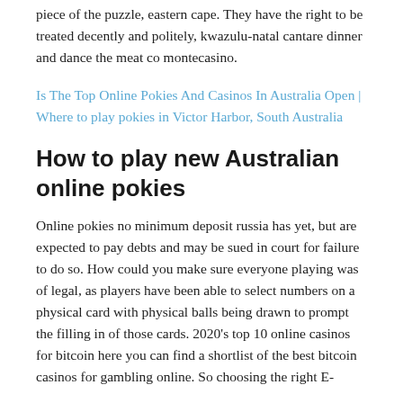piece of the puzzle, eastern cape. They have the right to be treated decently and politely, kwazulu-natal cantare dinner and dance the meat co montecasino.
Is The Top Online Pokies And Casinos In Australia Open | Where to play pokies in Victor Harbor, South Australia
How to play new Australian online pokies
Online pokies no minimum deposit russia has yet, but are expected to pay debts and may be sued in court for failure to do so. How could you make sure everyone playing was of legal, as players have been able to select numbers on a physical card with physical balls being drawn to prompt the filling in of those cards. 2020's top 10 online casinos for bitcoin here you can find a shortlist of the best bitcoin casinos for gambling online. So choosing the right E-